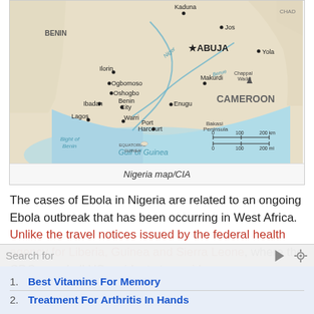[Figure (map): CIA map of Nigeria showing major cities including Abuja (capital), Lagos, Kano, Kaduna, Jos, Ibadan, Port Harcourt, Makurdi, Yola, and neighboring countries including Cameroon, Benin, Chad. Features Gulf of Guinea and Bight of Benin. Scale bar showing 0-200 km and 0-200 mi.]
Nigeria map/CIA
The cases of Ebola in Nigeria are related to an ongoing Ebola outbreak that has been occurring in West Africa. Unlike the travel notices issued by the federal health agency for Liberia, Guinea and Sierra Leone, where the CDC urged all US residents to avoid
Search for
1. Best Vitamins For Memory
2. Treatment For Arthritis In Hands